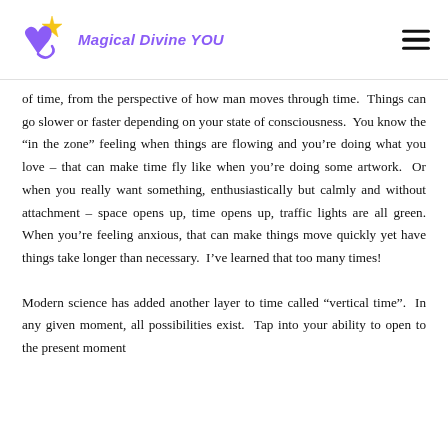Magical Divine YOU
of time, from the perspective of how man moves through time. Things can go slower or faster depending on your state of consciousness. You know the “in the zone” feeling when things are flowing and you’re doing what you love – that can make time fly like when you’re doing some artwork. Or when you really want something, enthusiastically but calmly and without attachment – space opens up, time opens up, traffic lights are all green. When you’re feeling anxious, that can make things move quickly yet have things take longer than necessary. I’ve learned that too many times!
Modern science has added another layer to time called “vertical time”. In any given moment, all possibilities exist. Tap into your ability to open to the present moment of vertical time so you can tap into the point of...